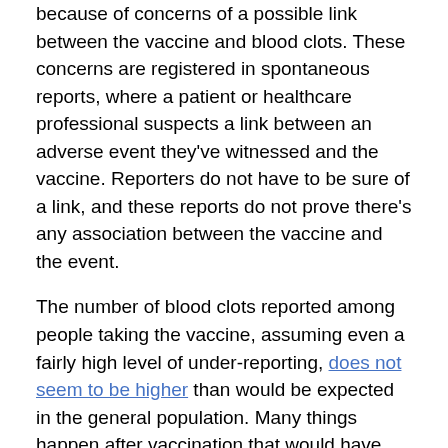because of concerns of a possible link between the vaccine and blood clots. These concerns are registered in spontaneous reports, where a patient or healthcare professional suspects a link between an adverse event they've witnessed and the vaccine. Reporters do not have to be sure of a link, and these reports do not prove there's any association between the vaccine and the event.
The number of blood clots reported among people taking the vaccine, assuming even a fairly high level of under-reporting, does not seem to be higher than would be expected in the general population. Many things happen after vaccination that would have happened without the vaccine.
That said, in some countries, such as Norway and Germany, an extremely rare form of blood clot in the brain called cerebral venous sinus thrombosis (CVST) has been reported. Incidence of CVST in the normal population is hard to measure, although Johns Hopkins Medicine has